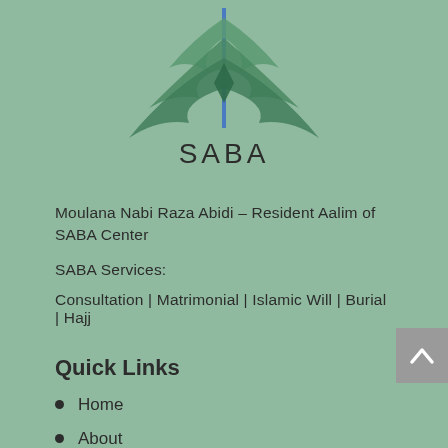[Figure (logo): SABA organization logo — stylized green crossed feather/leaf design with a blue vertical element, text SABA below the graphic]
Moulana Nabi Raza Abidi – Resident Aalim of SABA Center
SABA Services:
Consultation | Matrimonial | Islamic Will | Burial | Hajj
Quick Links
Home
About